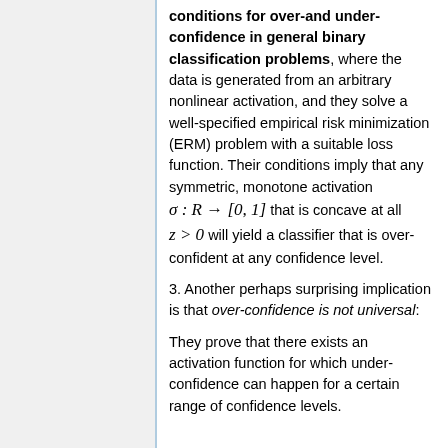conditions for over-and under-confidence in general binary classification problems, where the data is generated from an arbitrary nonlinear activation, and they solve a well-specified empirical risk minimization (ERM) problem with a suitable loss function. Their conditions imply that any symmetric, monotone activation σ : R → [0, 1] that is concave at all z > 0 will yield a classifier that is over-confident at any confidence level.
3. Another perhaps surprising implication is that over-confidence is not universal:
They prove that there exists an activation function for which under-confidence can happen for a certain range of confidence levels.